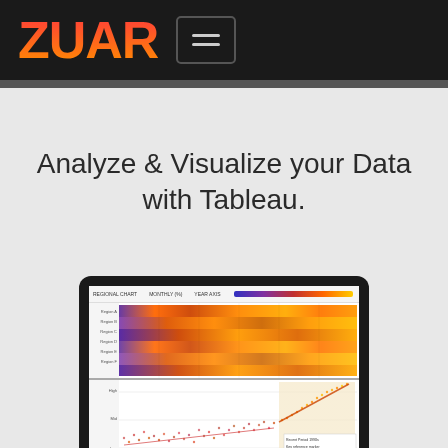[Figure (logo): ZUAR logo in gradient red-to-orange on black navigation bar, with a hamburger menu button to the right]
Analyze & Visualize your Data with Tableau.
[Figure (screenshot): Laptop screen showing a Tableau dashboard with a heatmap visualization on top (orange/purple color spectrum) and a scatter plot with trend line below, on a light gray page background]